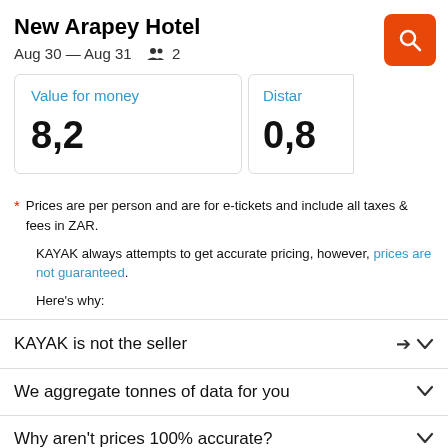New Arapey Hotel
Aug 30 — Aug 31  👥 2
Value for money
8,2
Distan
0,8
* Prices are per person and are for e-tickets and include all taxes & fees in ZAR.
KAYAK always attempts to get accurate pricing, however, prices are not guaranteed.
Here's why:
KAYAK is not the seller
We aggregate tonnes of data for you
Why aren't prices 100% accurate?